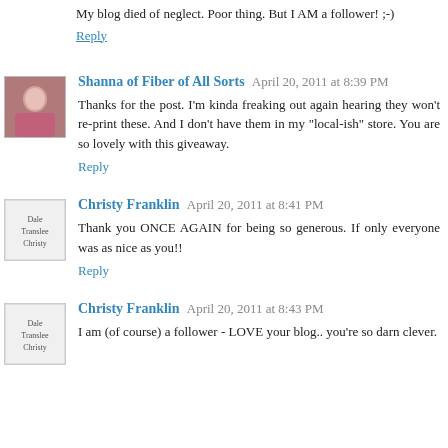My blog died of neglect. Poor thing. But I AM a follower! ;-)
Reply
Shanna of Fiber of All Sorts  April 20, 2011 at 8:39 PM
Thanks for the post. I'm kinda freaking out again hearing they won't re-print these. And I don't have them in my "local-ish" store. You are so lovely with this giveaway.
Reply
Christy Franklin  April 20, 2011 at 8:41 PM
Thank you ONCE AGAIN for being so generous. If only everyone was as nice as you!!
Reply
Christy Franklin  April 20, 2011 at 8:43 PM
I am (of course) a follower - LOVE your blog.. you're so darn clever.